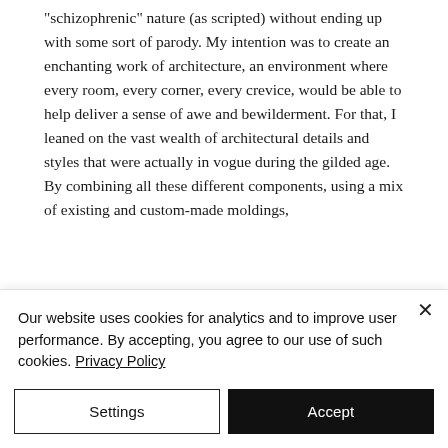“schizophrenic” nature (as scripted) without ending up with some sort of parody. My intention was to create an enchanting work of architecture, an environment where every room, every corner, every crevice, would be able to help deliver a sense of awe and bewilderment. For that, I leaned on the vast wealth of architectural details and styles that were actually in vogue during the gilded age. By combining all these different components, using a mix of existing and custom-made moldings,
Our website uses cookies for analytics and to improve user performance. By accepting, you agree to our use of such cookies. Privacy Policy
Settings
Accept